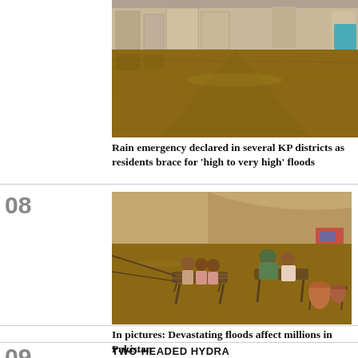[Figure (photo): Flooded street with brown water, buildings visible in background, overcast day]
Rain emergency declared in several KP districts as residents brace for 'high to very high' floods
08
[Figure (photo): Flood victims including children and a woman sitting on elevated platform/cots surrounded by flood water, with clay pots on a wooden stool in foreground]
In pictures: Devastating floods affect millions in Pakistan
09
TWO-HEADED HYDRA